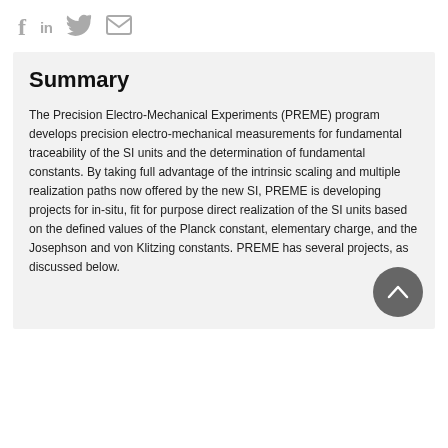f in [twitter] [mail]
Summary
The Precision Electro-Mechanical Experiments (PREME) program develops precision electro-mechanical measurements for fundamental traceability of the SI units and the determination of fundamental constants. By taking full advantage of the intrinsic scaling and multiple realization paths now offered by the new SI, PREME is developing projects for in-situ, fit for purpose direct realization of the SI units based on the defined values of the Planck constant, elementary charge, and the Josephson and von Klitzing constants. PREME has several projects, as discussed below.